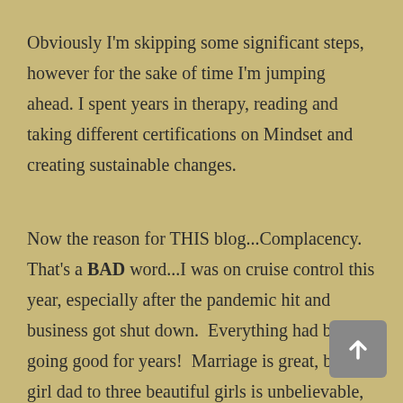Obviously I'm skipping some significant steps, however for the sake of time I'm jumping ahead. I spent years in therapy, reading and taking different certifications on Mindset and creating sustainable changes.
Now the reason for THIS blog...Complacency.  That's a BAD word...I was on cruise control this year, especially after the pandemic hit and business got shut down.  Everything had been going good for years!  Marriage is great, being a girl dad to three beautiful girls is unbelievable, and business continued to grow